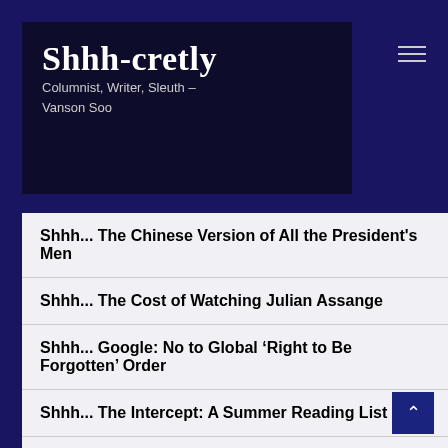Shhh-cretly
Columnist, Writer, Sleuth – Vanson Soo
Shhh... The Chinese Version of All the President's Men
Shhh... The Cost of Watching Julian Assange
Shhh... Google: No to Global ‘Right to Be Forgotten’ Order
Shhh... The Intercept: A Summer Reading List
Shhh... 10 Secret Facts about the CIA
Shhh... Spies Vs Silicon Valley
Shhh... Microsoft's Wi-Fi Sense Can Make You the 'Hotspot'
Shhh... The Snowden Official Teaser Trailer